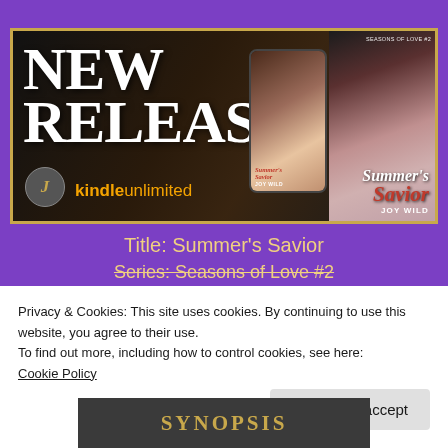[Figure (illustration): New Release promotional banner for 'Summer's Savior' by Joy Wild. Dark background with large white serif text 'NEW RELEASE', Kindle Unlimited branding in orange, book cover and phone mockup showing the book cover on the right side. Gold border around the banner.]
Title: Summer’s Savior
Series: Seasons of Love #2
Privacy & Cookies: This site uses cookies. By continuing to use this website, you agree to their use.
To find out more, including how to control cookies, see here:
Cookie Policy
Close and accept
[Figure (illustration): Dark banner with 'SYNOPSIS' text in gold lettering]